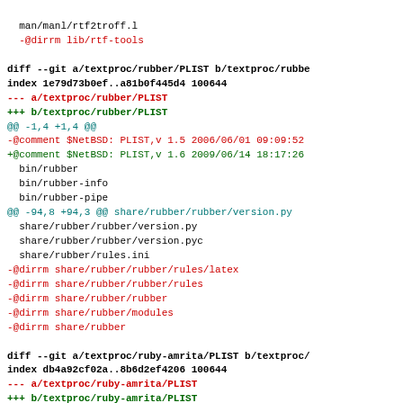man/manl/rtf2troff.l
-@dirrm lib/rtf-tools
diff --git a/textproc/rubber/PLIST b/textproc/rubbe
index 1e79d73b0ef..a81b0f445d4 100644
--- a/textproc/rubber/PLIST
+++ b/textproc/rubber/PLIST
@@ -1,4 +1,4 @@
-@comment $NetBSD: PLIST,v 1.5 2006/06/01 09:09:52
+@comment $NetBSD: PLIST,v 1.6 2009/06/14 18:17:26
 bin/rubber
 bin/rubber-info
 bin/rubber-pipe
@@ -94,8 +94,3 @@ share/rubber/rubber/version.py
 share/rubber/rubber/version.py
 share/rubber/rubber/version.pyc
 share/rubber/rules.ini
-@dirrm share/rubber/rubber/rules/latex
-@dirrm share/rubber/rubber/rules
-@dirrm share/rubber/rubber
-@dirrm share/rubber/modules
-@dirrm share/rubber
diff --git a/textproc/ruby-amrita/PLIST b/textproc/
index db4a92cf02a..8b6d2ef4206 100644
--- a/textproc/ruby-amrita/PLIST
+++ b/textproc/ruby-amrita/PLIST
@@ -1,4 +1,4 @@
-@comment $NetBSD: PLIST,v 1.4 2009/02/15 03:33:02
+@comment $NetBSD: PLIST,v 1.5 2009/06/14 18:17:27